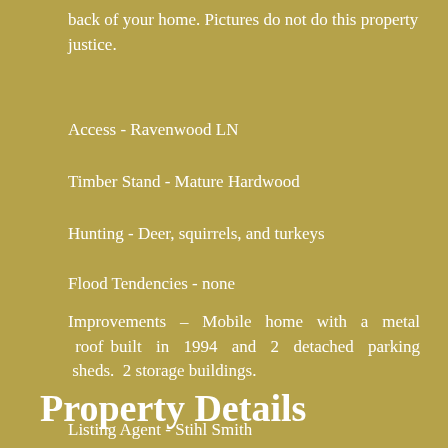back of your home. Pictures do not do this property justice.
Access - Ravenwood LN
Timber Stand - Mature Hardwood
Hunting - Deer, squirrels, and turkeys
Flood Tendencies - none
Improvements - Mobile home with a metal roof built in 1994 and 2 detached parking sheds. 2 storage buildings.
Listing Agent - Stihl Smith
Property Details